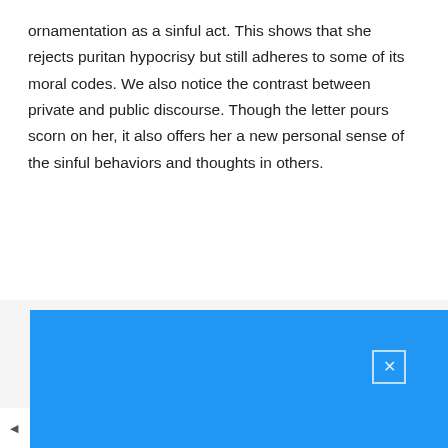ornamentation as a sinful act. This shows that she rejects puritan hypocrisy but still adheres to some of its moral codes. We also notice the contrast between private and public discourse. Though the letter pours scorn on her, it also offers her a new personal sense of the sinful behaviors and thoughts in others.
HAVE NO IDEAS WITH YOUR ESSAY?
[Figure (infographic): Advertisement card showing a document thumbnail with -20% discount badge, title 'We'll write it for you!', subtitle 'Assign an expert to write your essay', and price 'from $11.22' with strikethrough original price '$14.03']
[Figure (screenshot): Blue overlay/popup covering lower portion of the page with a close (X) button in the upper right corner]